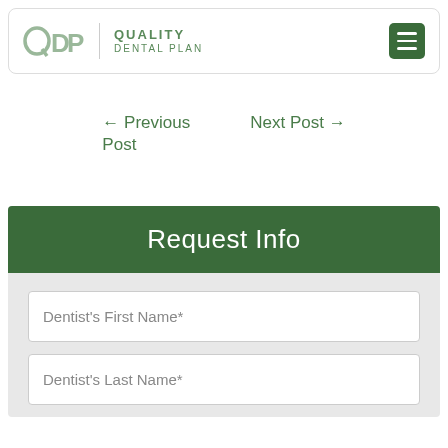QDP | QUALITY DENTAL PLAN
← Previous Post
Next Post →
Request Info
Dentist's First Name*
Dentist's Last Name*